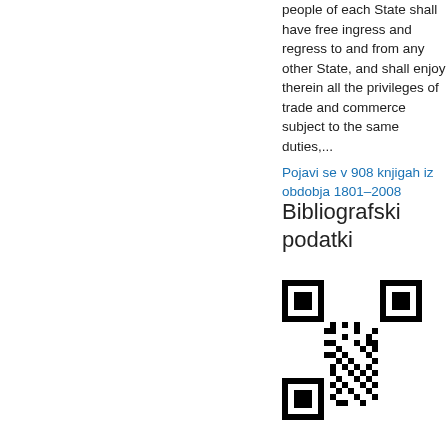people of each State shall have free ingress and regress to and from any other State, and shall enjoy therein all the privileges of trade and commerce subject to the same duties,...
Pojavi se v 908 knjigah iz obdobja 1801–2008
Bibliografski podatki
[Figure (other): QR code for bibliographic data]